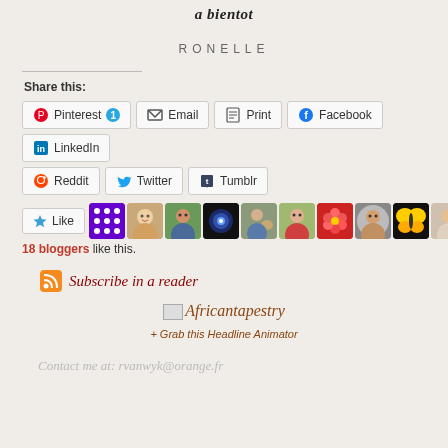a bientot
RONELLE
Share this:
Pinterest 1 | Email | Print | Facebook | LinkedIn | Reddit | Twitter | Tumblr
[Figure (other): Like button and 10 blogger avatar thumbnails, 18 bloggers like this.]
18 bloggers like this.
Subscribe in a reader
Africantapestry
+ Grab this Headline Animator
Contact me at: rvanwyk@orange.fr